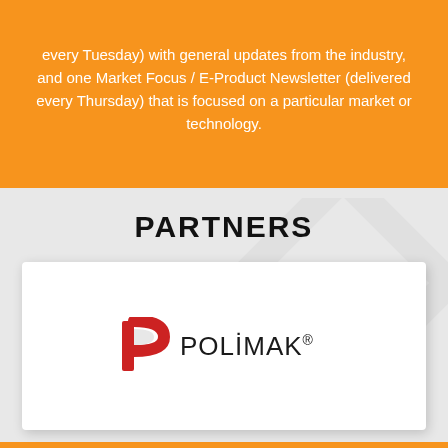every Tuesday) with general updates from the industry, and one Market Focus / E-Product Newsletter (delivered every Thursday) that is focused on a particular market or technology.
PARTNERS
[Figure (logo): Polimak logo: stylized red P icon followed by POLİMAK® text in dark serif font]